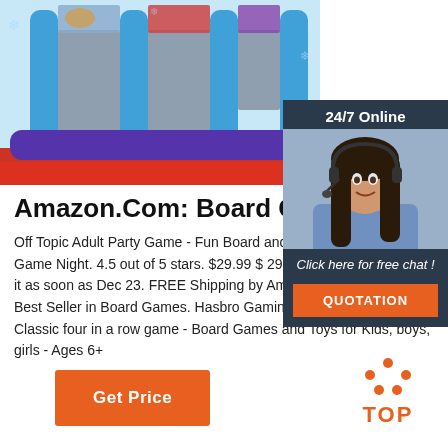[Figure (photo): Frozen-themed inflatable bounce house/castle with blue pillars and characters on panels, red floor mat]
[Figure (photo): 24/7 Online chat widget with woman wearing headset, Click here for free chat button, and QUOTATION orange button]
Amazon.Com: Board Games
Off Topic Adult Party Game - Fun Board and Game for Group Game Night. 4.5 out of 5 stars. $29.99 $ 29. 99 $39.99 $39.99. Get it as soon as Dec 23. FREE Shipping by Amazon. Ages: 1 and up. Best Seller in Board Games. Hasbro Gaming CONNECT 4 - Classic four in a row game - Board Games and Toys for Kids, boys, girls - Ages 6+
[Figure (other): TOP badge with orange dot pattern above text]
Get Price